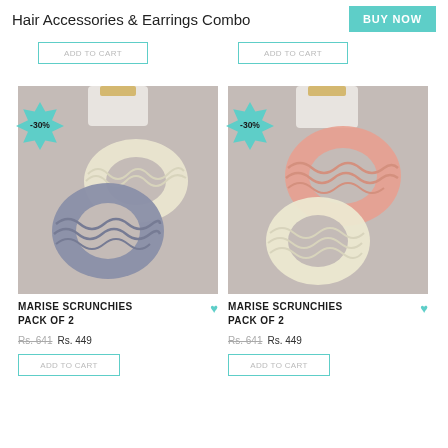Hair Accessories & Earrings Combo
BUY NOW
[Figure (photo): Two fluffy scrunchies - one cream/yellow and one grey/blue, with a white bottle in background. -30% badge shown. Marise Scrunchies Pack of 2.]
MARISE SCRUNCHIES PACK OF 2
Rs. 641 Rs. 449
[Figure (photo): Two fluffy scrunchies - one pink and one cream/yellow, with a white bottle in background. -30% badge shown. Marise Scrunchies Pack of 2.]
MARISE SCRUNCHIES PACK OF 2
Rs. 641 Rs. 449